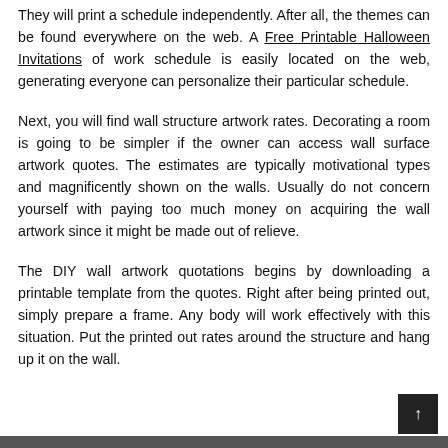They will print a schedule independently. After all, the themes can be found everywhere on the web. A Free Printable Halloween Invitations of work schedule is easily located on the web, generating everyone can personalize their particular schedule.
Next, you will find wall structure artwork rates. Decorating a room is going to be simpler if the owner can access wall surface artwork quotes. The estimates are typically motivational types and magnificently shown on the walls. Usually do not concern yourself with paying too much money on acquiring the wall artwork since it might be made out of relieve.
The DIY wall artwork quotations begins by downloading a printable template from the quotes. Right after being printed out, simply prepare a frame. Any body will work effectively with this situation. Put the printed out rates around the structure and hang up it on the wall.